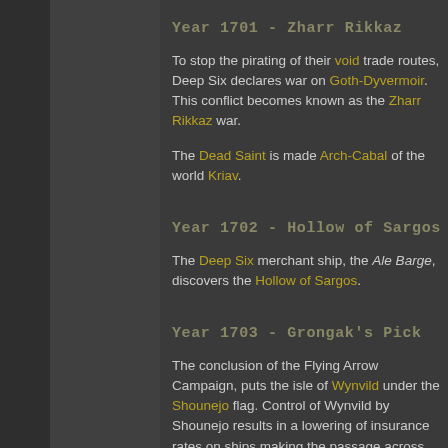Year 1701 - Zharr Rikkaz
To stop the pirating of their void trade routes, Deep Six declares war on Goth-Dyvermoir. This conflict becomes known as the Zharr Rikkaz war.
The Dead Saint is made Arch-Cabal of the world Kriav.
Year 1702 - Hollow of Sargos
The Deep Six merchant ship, the Ale Barge, discovers the Hollow of Sargos.
Year 1703 - Grongak's Pick
The conclusion of the Flying Arrow Campaign, puts the isle of Wynvild under the Shounejo flag. Control of Wynvild by Shounejo results in a lowering of insurance rates on ships making the passage across Morwuld Briin on their way to and from the island.